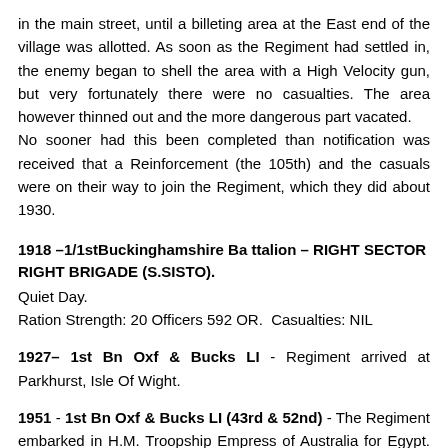in the main street, until a billeting area at the East end of the village was allotted. As soon as the Regiment had settled in, the enemy began to shell the area with a High Velocity gun, but very fortunately there were no casualties. The area however thinned out and the more dangerous part vacated. No sooner had this been completed than notification was received that a Reinforcement (the 105th) and the casuals were on their way to join the Regiment, which they did about 1930.
1918 –1/1stBuckinghamshire Battalion – RIGHT SECTOR RIGHT BRIGADE (S.SISTO).
Quiet Day.
Ration Strength: 20 Officers 592 OR.  Casualties: NIL
1927– 1st Bn Oxf & Bucks LI - Regiment arrived at Parkhurst, Isle Of Wight.
1951 - 1st Bn Oxf & Bucks LI (43rd & 52nd) - The Regiment embarked in H.M. Troopship Empress of Australia for Egypt. Strength all ranks 485.